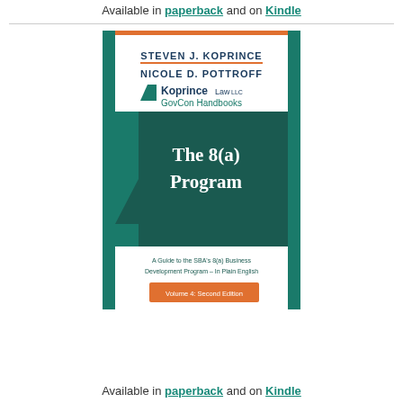Available in paperback and on Kindle
[Figure (illustration): Book cover for 'The 8(a) Program: A Guide to the SBA's 8(a) Business Development Program - In Plain English', Volume 4: Second Edition, by Steven J. Koprince and Nicole D. Pottroff, Koprince Law LLC GovCon Handbooks. Teal and orange design with large white title text on dark teal banner.]
Available in paperback and on Kindle